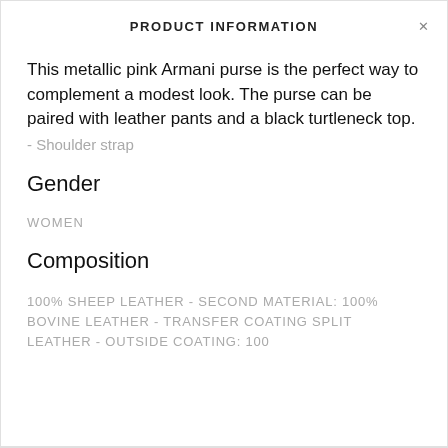PRODUCT INFORMATION
This metallic pink Armani purse is the perfect way to complement a modest look. The purse can be paired with leather pants and a black turtleneck top.
- Shoulder strap
Gender
WOMEN
Composition
100% SHEEP LEATHER - SECOND MATERIAL: 100% BOVINE LEATHER - TRANSFER COATING SPLIT LEATHER - OUTSIDE COATING: 100